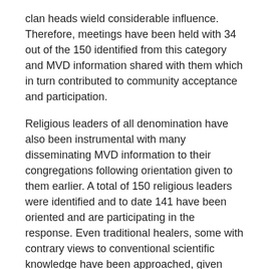clan heads wield considerable influence. Therefore, meetings have been held with 34 out of the 150 identified from this category and MVD information shared with them which in turn contributed to community acceptance and participation.
Religious leaders of all denomination have also been instrumental with many disseminating MVD information to their congregations following orientation given to them earlier. A total of 150 religious leaders were identified and to date 141 have been oriented and are participating in the response. Even traditional healers, some with contrary views to conventional scientific knowledge have been approached, given MVD information for their own good and also requested to share it with people who utilize their services.
The political leadership is also fully on board and fully immersed in activities, traversing the district